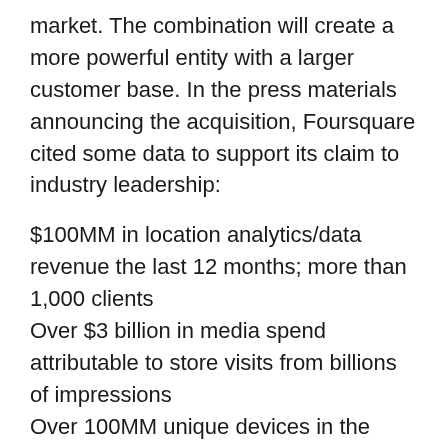market. The combination will create a more powerful entity with a larger customer base. In the press materials announcing the acquisition, Foursquare cited some data to support its claim to industry leadership:
$100MM in location analytics/data revenue the last 12 months; more than 1,000 clients
Over $3 billion in media spend attributable to store visits from billions of impressions
Over 100MM unique devices in the U.S. (extended Foursquare and Placed networks)
Placed and Foursquare's validated visits number over 13.1 billion to date
Largest in-store attribution provider. While a part of Snap, Placed operated as an independent business unit. This is a better fit, and Foursquare's analytics platform